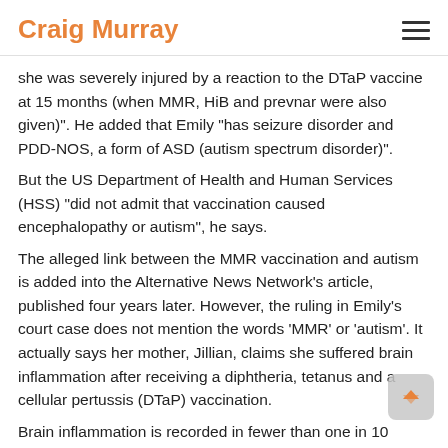Craig Murray
she was severely injured by a reaction to the DTaP vaccine at 15 months (when MMR, HiB and prevnar were also given)". He added that Emily "has seizure disorder and PDD-NOS, a form of ASD (autism spectrum disorder)".
But the US Department of Health and Human Services (HSS) "did not admit that vaccination caused encephalopathy or autism", he says.
The alleged link between the MMR vaccination and autism is added into the Alternative News Network's article, published four years later. However, the ruling in Emily's court case does not mention the words 'MMR' or 'autism'. It actually says her mother, Jillian, claims she suffered brain inflammation after receiving a diphtheria, tetanus and a cellular pertussis (DTaP) vaccination.
Brain inflammation is recorded in fewer than one in 10 million doses, the French medical agency (ANSM) says. "The risk of developing brain inflammation after receiving a vaccine is much lower than the risk of developing it because of natural